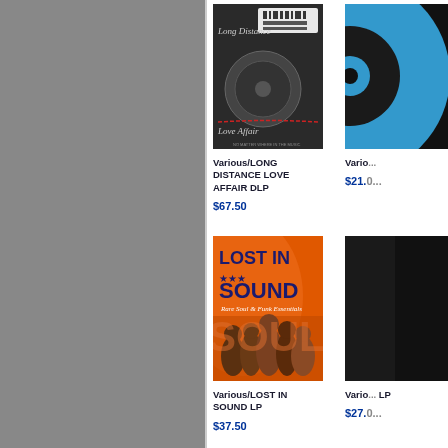[Figure (photo): Gray sidebar panel on the left side of the page]
[Figure (photo): Album cover: Long Distance Love Affair DLP - dark background with rotary phone dial]
Various/LONG DISTANCE LOVE AFFAIR DLP
$67.50
[Figure (photo): Album cover: partially visible blue vinyl or similar on right side]
Vario...
$21.0...
[Figure (photo): Album cover: Lost In Sound LP - orange background with group of people and text 'LOST IN SOUND Rare Soul & Funk Essentials']
Various/LOST IN SOUND LP
$37.50
[Figure (photo): Album cover: partially visible dark/black album on right side]
Vario... LP
$27.0...